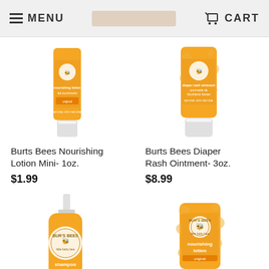MENU   CART
[Figure (photo): Burts Bees Baby Nourishing Lotion Mini 1oz tube, yellow/orange packaging]
Burts Bees Nourishing Lotion Mini- 1oz.
$1.99
[Figure (photo): Burts Bees Baby Diaper Rash Ointment 3oz tube, yellow/orange packaging]
Burts Bees Diaper Rash Ointment- 3oz.
$8.99
[Figure (photo): Burts Bees Baby Shampoo pump bottle, yellow/orange]
[Figure (photo): Burts Bees Baby Nourishing Lotion tube, yellow/orange packaging with spots]